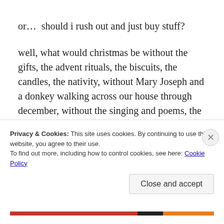or…  should i rush out and just buy stuff?
well, what would christmas be without the gifts, the advent rituals, the biscuits, the candles, the nativity, without Mary Joseph and a donkey walking across our house through december, without the singing and poems, the wreath, the secrecy and elving, the crafting together, the fun and wonder?
it's great things to contemplate isn't it? what do we give
Privacy & Cookies: This site uses cookies. By continuing to use this website, you agree to their use.
To find out more, including how to control cookies, see here: Cookie Policy
Close and accept